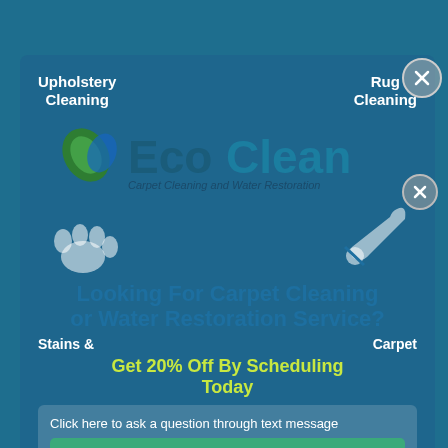[Figure (screenshot): EcoClean Carpet Cleaning and Water Restoration website screenshot with overlaid chat/popup widget. Background is teal/steel blue. A semi-transparent modal overlay shows navigation links (Upholstery Cleaning, Rug Cleaning), the EcoClean logo with leaf icon, tagline 'Carpet Cleaning and Water Restoration', paw print and wrench icons, headline 'Looking For Carpet Cleaning or Water Restoration Service?', subheadline 'Get 20% Off By Scheduling Today', sub-nav items (Stains &, Carpet), a chat prompt 'Click here to ask a question through text message', a green 'Get Your Estimate Now!' button, and a 'Write your message...' input field with send button. Close (X) buttons appear at top-right and mid-right.]